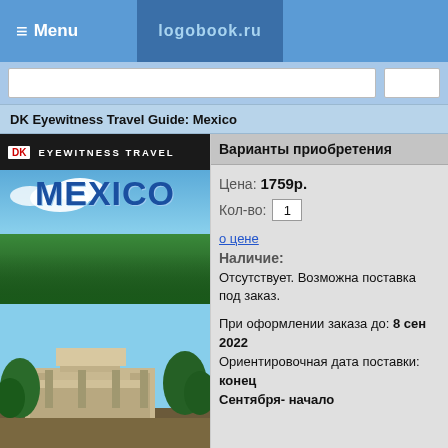≡ Menu   logobook.ru
DK Eyewitness Travel Guide: Mexico
[Figure (photo): Book cover of DK Eyewitness Travel Guide: Mexico, showing the title in large blue letters and a photo of Mexican ruins/temple with trees and sky in the background]
Варианты приобретения
Цена: 1759р.
Кол-во: 1
о цене
Наличие:
Отсутствует. Возможна поставка под заказ.
При оформлении заказа до: 8 сен 2022 Ориентировочная дата поставки: конец Сентября- начало